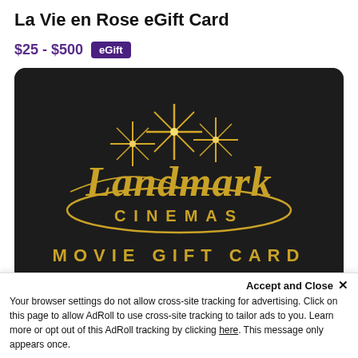La Vie en Rose eGift Card
$25 - $500  eGift
[Figure (illustration): Landmark Cinemas Movie Gift Card — black card with gold star burst logo, gold text reading 'Landmark CINEMAS' with a swooping oval underline, and 'MOVIE GIFT CARD' text at the bottom in gold lettering.]
Landmark Cinemas eGift Card
Accept and Close ×
Your browser settings do not allow cross-site tracking for advertising. Click on this page to allow AdRoll to use cross-site tracking to tailor ads to you. Learn more or opt out of this AdRoll tracking by clicking here. This message only appears once.